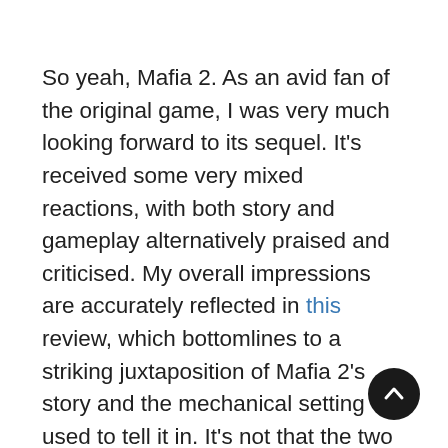So yeah, Mafia 2. As an avid fan of the original game, I was very much looking forward to its sequel. It's received some very mixed reactions, with both story and gameplay alternatively praised and criticised. My overall impressions are accurately reflected in this review, which bottomlines to a striking juxtaposition of Mafia 2's story and the mechanical setting used to tell it in. It's not that the two aren't meaningfully connected, it's that the former doesn't measure up to the strengths of the latter. What the original game lacked in technical prowess, it more than made up for with a compelling story centred firmly around its well-rounded protagonist, Tommy Angelo. Mafia 2 does a